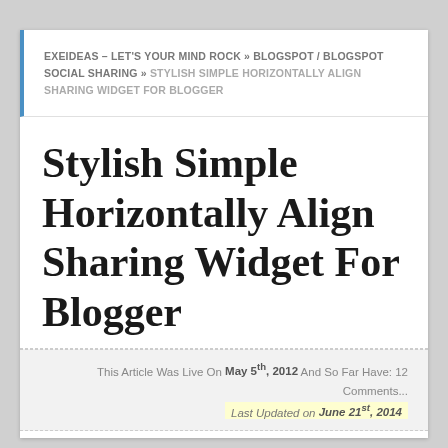EXEIDEAS – LET'S YOUR MIND ROCK » BLOGSPOT / BLOGSPOT SOCIAL SHARING » STYLISH SIMPLE HORIZONTALLY ALIGN SHARING WIDGET FOR BLOGGER
Stylish Simple Horizontally Align Sharing Widget For Blogger
This Article Was Live On May 5th, 2012 And So Far Have: 12 Comments... Last Updated on June 21st, 2014